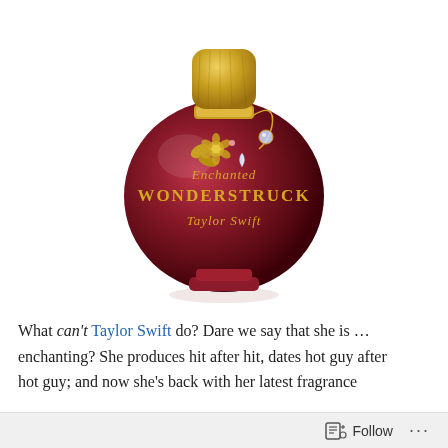[Figure (photo): A round red/crimson perfume bottle with a gold cap, gold charm decorations including flowers and a crystal teardrop pendant. The bottle reads 'Enchanted Wonderstruck Taylor Swift' in gold text. White background.]
What can't Taylor Swift do? Dare we say that she is … enchanting? She produces hit after hit, dates hot guy after hot guy; and now she's back with her latest fragrance
Follow ...